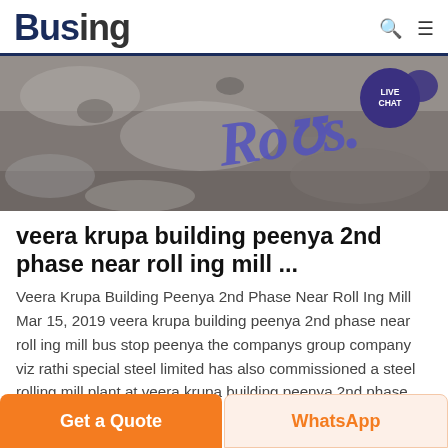Busing
[Figure (photo): Hero banner image showing a concrete/stone surface with blue graffiti-style text 'Rolis' or similar, with a LIVE CHAT badge overlay in the top right]
veera krupa building peenya 2nd phase near roll ing mill ...
Veera Krupa Building Peenya 2nd Phase Near Roll Ing Mill Mar 15, 2019 veera krupa building peenya 2nd phase near roll ing mill bus stop peenya the companys group company viz rathi special steel limited has also commissioned a steel rolling mill plant at veera krupa building peenya 2nd phase near rollGaondevi Bus Stand,
Get a Quote  WhatsApp